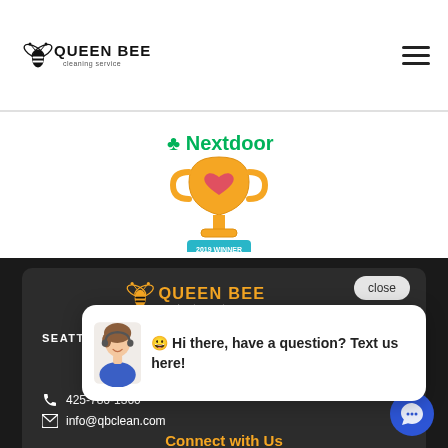[Figure (logo): Queen Bee Cleaning Service logo with bee icon in black/white, top left of header]
[Figure (illustration): Hamburger menu icon (three horizontal lines) top right of header]
[Figure (logo): Nextdoor logo with trophy award badge showing '2019 WINNER']
[Figure (logo): Queen Bee Cleaning Service logo in yellow/gold on dark background in footer]
close
SEATTLE
[Figure (illustration): Chat bubble popup with customer service avatar photo and text: Hi there, have a question? Text us here!]
425-786-1360
info@qbclean.com
Connect with Us